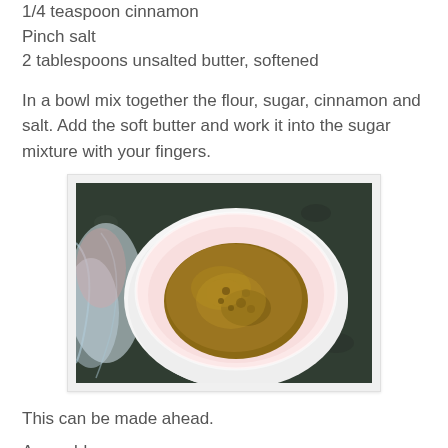1/4 teaspoon cinnamon
Pinch salt
2 tablespoons unsalted butter, softened
In a bowl mix together the flour, sugar, cinnamon and salt. Add the soft butter and work it into the sugar mixture with your fingers.
[Figure (photo): A white bowl viewed from above containing brown sugar mixture, with plastic wrap visible around the sides, sitting on a dark granite surface.]
This can be made ahead.
Assembly: